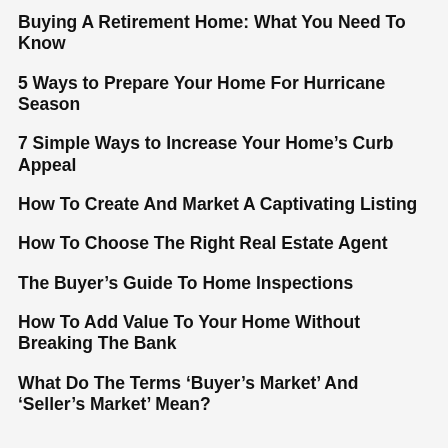Buying A Retirement Home: What You Need To Know
5 Ways to Prepare Your Home For Hurricane Season
7 Simple Ways to Increase Your Home's Curb Appeal
How To Create And Market A Captivating Listing
How To Choose The Right Real Estate Agent
The Buyer's Guide To Home Inspections
How To Add Value To Your Home Without Breaking The Bank
What Do The Terms ‘Buyer's Market’ And ‘Seller's Market’ Mean?